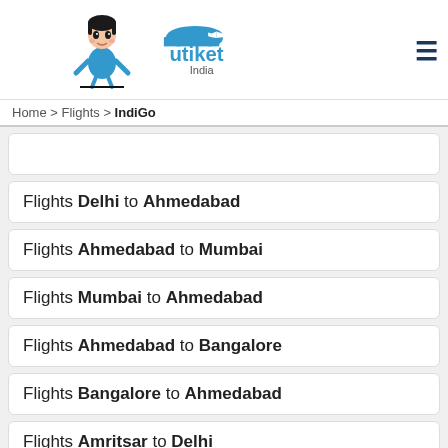[Figure (logo): Utiket India logo with mascot girl in blue dress and animated airplane cloud logo]
Home > Flights > IndiGo
Flights Delhi to Ahmedabad
Flights Ahmedabad to Mumbai
Flights Mumbai to Ahmedabad
Flights Ahmedabad to Bangalore
Flights Bangalore to Ahmedabad
Flights Amritsar to Delhi
Flights Delhi to Amritsar